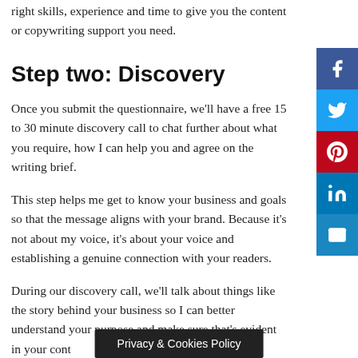right skills, experience and time to give you the content or copywriting support you need.
Step two: Discovery
Once you submit the questionnaire, we'll have a free 15 to 30 minute discovery call to chat further about what you require, how I can help you and agree on the writing brief.
This step helps me get to know your business and goals so that the message aligns with your brand. Because it's not about my voice, it's about your voice and establishing a genuine connection with your readers.
During our discovery call, we'll talk about things like the story behind your business so I can better understand your purpose and make sure that's evident in your cont... her
Privacy & Cookies Policy